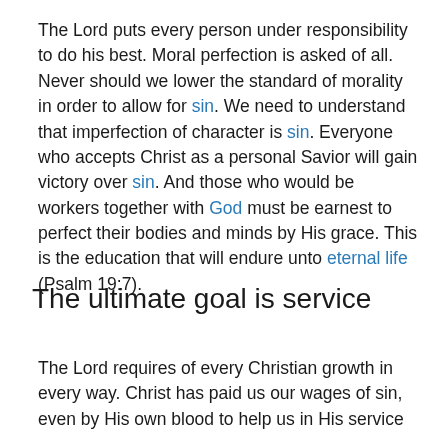The Lord puts every person under responsibility to do his best. Moral perfection is asked of all. Never should we lower the standard of morality in order to allow for sin. We need to understand that imperfection of character is sin. Everyone who accepts Christ as a personal Savior will gain victory over sin. And those who would be workers together with God must be earnest to perfect their bodies and minds by His grace. This is the education that will endure unto eternal life (Psalm 19:7).
The ultimate goal is service
The Lord requires of every Christian growth in every way. Christ has paid us our wages of sin, even by His own blood to help us in His service